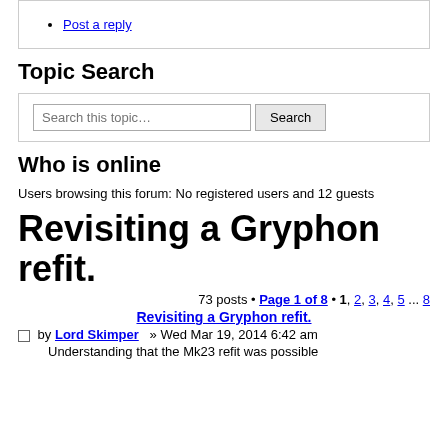Post a reply
Topic Search
Who is online
Users browsing this forum: No registered users and 12 guests
Revisiting a Gryphon refit.
73 posts • Page 1 of 8 • 1, 2, 3, 4, 5 ... 8
Revisiting a Gryphon refit.
by Lord Skimper » Wed Mar 19, 2014 6:42 am
Understanding that the Mk23 refit was possible